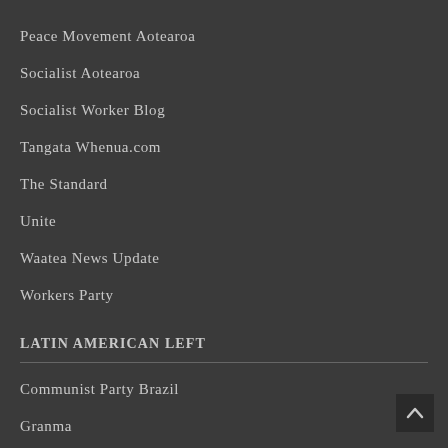Peace Movement Aotearoa
Socialist Aotearoa
Socialist Worker Blog
Tangata Whenua.com
The Standard
Unite
Waatea News Update
Workers Party
LATIN AMERICAN LEFT
Communist Party Brazil
Granma